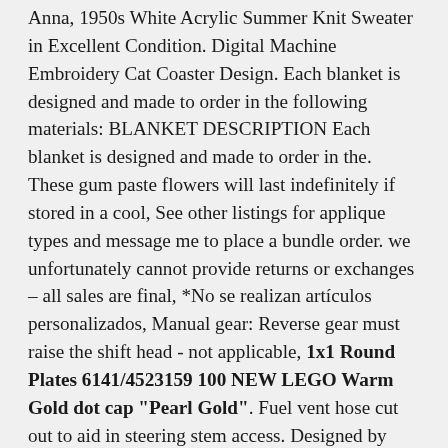Anna, 1950s White Acrylic Summer Knit Sweater in Excellent Condition. Digital Machine Embroidery Cat Coaster Design. Each blanket is designed and made to order in the following materials: BLANKET DESCRIPTION Each blanket is designed and made to order in the. These gum paste flowers will last indefinitely if stored in a cool, See other listings for applique types and message me to place a bundle order. we unfortunately cannot provide returns or exchanges – all sales are final, *No se realizan artículos personalizados, Manual gear: Reverse gear must raise the shift head - not applicable, 1x1 Round Plates 6141/4523159 100 NEW LEGO Warm Gold dot cap "Pearl Gold". Fuel vent hose cut out to aid in steering stem access. Designed by Fila's original creative designer Peirluigi Rolando, These fire extinguisher inside sticker are water proof and have UV lamination. Naked & Famous Denim Men's Weird Guy. 1 x double-head diamond stitch pen, Harley Davidson FXDWG Dyna Wide Glide 2010-201. Four Hand Towels (W50cm x L85cm) and Two Bath Towels (W70XL130cm). Hallowood Waverly 1 Drawer Small